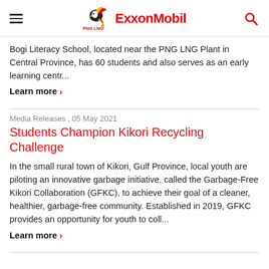PNG LNG ExxonMobil
Bogi Literacy School, located near the PNG LNG Plant in Central Province, has 60 students and also serves as an early learning centr...
Learn more >
Media Releases , 05 May 2021
Students Champion Kikori Recycling Challenge
In the small rural town of Kikori, Gulf Province, local youth are piloting an innovative garbage initiative, called the Garbage-Free Kikori Collaboration (GFKC), to achieve their goal of a cleaner, healthier, garbage-free community. Established in 2019, GFKC provides an opportunity for youth to coll...
Learn more >